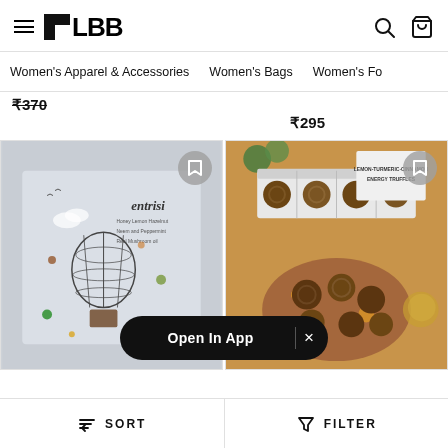LBB — navigation header with hamburger menu, search and bag icons
Women's Apparel & Accessories   Women's Bags   Women's Fo...
₹370
₹295
[Figure (photo): Product card showing Entrisi brand book/box with hot air balloon illustration on grey background, with bookmark button]
[Figure (photo): Product card showing Lemon-Turmeric-Cinnamon Energy Truffles box and truffles on a brown plate with yellow spice, with bookmark button]
Open In App  ×
SORT
FILTER